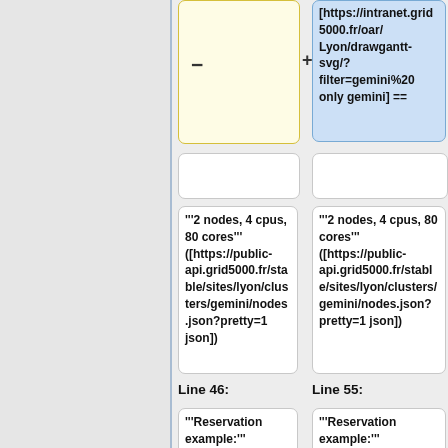[https://intranet.grid5000.fr/oar/Lyon/drawgantt-svg/?filter=gemini%20only gemini] ==
"'2 nodes, 4 cpus, 80 cores"' ([https://public-api.grid5000.fr/stable/sites/lyon/clusters/gemini/nodes.json?pretty=1 json])
"'2 nodes, 4 cpus, 80 cores"' ([https://public-api.grid5000.fr/stable/sites/lyon/clusters/gemini/nodes.json?pretty=1 json])
Line 46:
Line 55:
"'Reservation example:"'
"'Reservation example:"'